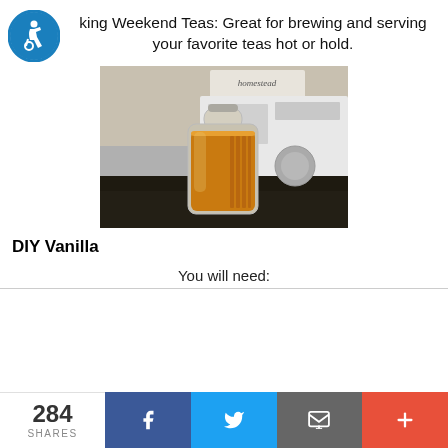king Weekend Teas: Great for brewing and serving your favorite teas hot or hold.
[Figure (photo): A glass bottle filled with amber-colored liquid (tea or vanilla extract) sitting on a dark granite countertop with a white stove/range in the background and a 'Homestead' sign visible.]
DIY Vanilla
You will need:
284 SHARES